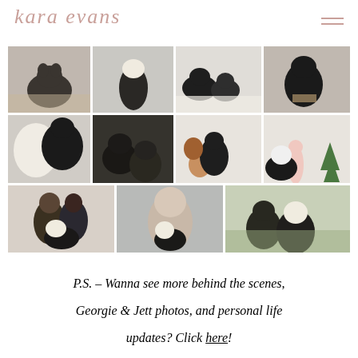kara evans
[Figure (photo): A collage of 11 photos arranged in a 3-row grid featuring border collie dogs named Georgie and Jett, along with their owners in various settings including home interiors and outdoor scenes.]
P.S. – Wanna see more behind the scenes, Georgie & Jett photos, and personal life updates? Click here!